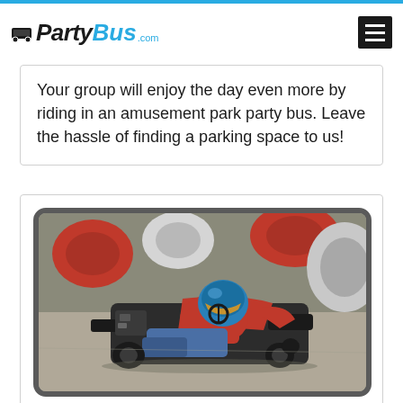PartyBus.com
Your group will enjoy the day even more by riding in an amusement park party bus. Leave the hassle of finding a parking space to us!
[Figure (photo): Person driving a red go-kart on a race track, wearing a blue helmet and red shirt, with red and white tire barriers in the background.]